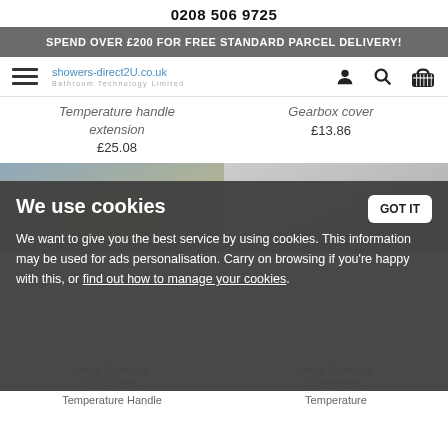0208 506 9725
SPEND OVER £200 FOR FREE STANDARD PARCEL DELIVERY!
[Figure (screenshot): Navigation bar with hamburger menu icon, showers-direct2U.co.uk logo (Bathroom Technology Limited), user icon, search icon, and basket icon]
Temperature handle extension
£25.08
Gearbox cover
£13.86
[Figure (photo): Photo of a brass shower component - temperature handle extension]
[Figure (photo): Photo of a chrome shower gearbox cover component]
We use cookies
We want to give you the best service by using cookies. This information may be used for ads personalisation. Carry on browsing if you're happy with this, or find out how to manage your cookies.
Ideal Standard A962443NU Temperature Handle
Ideal Standard F960908NU Temperature